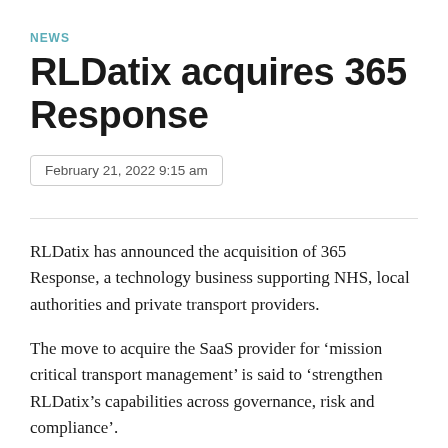NEWS
RLDatix acquires 365 Response
February 21, 2022 9:15 am
RLDatix has announced the acquisition of 365 Response, a technology business supporting NHS, local authorities and private transport providers.
The move to acquire the SaaS provider for ‘mission critical transport management’ is said to ‘strengthen RLDatix’s capabilities across governance, risk and compliance’.
The 365 Response platform supports healthcare organisations to manage patient and non-patient transport,